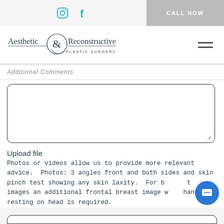CALL NOW
[Figure (logo): Aesthetic & Reconstructive Plastic Surgery logo with ampersand design]
Additional Comments
Upload file
Photos or videos allow us to provide more relevant advice. Photos: 3 angles front and both sides and skin pinch test showing any skin laxity. For breast images an additional frontal breast image with hands resting on head is required.